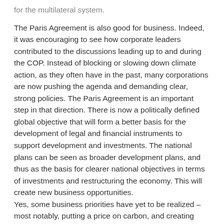for the multilateral system.
The Paris Agreement is also good for business. Indeed, it was encouraging to see how corporate leaders contributed to the discussions leading up to and during the COP. Instead of blocking or slowing down climate action, as they often have in the past, many corporations are now pushing the agenda and demanding clear, strong policies. The Paris Agreement is an important step in that direction. There is now a politically defined global objective that will form a better basis for the development of legal and financial instruments to support development and investments. The national plans can be seen as broader development plans, and thus as the basis for clearer national objectives in terms of investments and restructuring the economy. This will create new business opportunities.
Yes, some business priorities have yet to be realized – most notably, putting a price on carbon, and creating clear regulatory frameworks consistent with a low-carbon transition. The business community often indicated that…